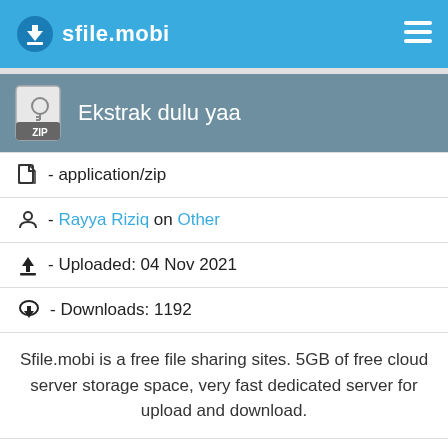sfile.mobi
Ekstrak dulu yaa
- application/zip
- Rayya Riziq on Other
- Uploaded: 04 Nov 2021
- Downloads: 1192
Sfile.mobi is a free file sharing sites. 5GB of free cloud server storage space, very fast dedicated server for upload and download.